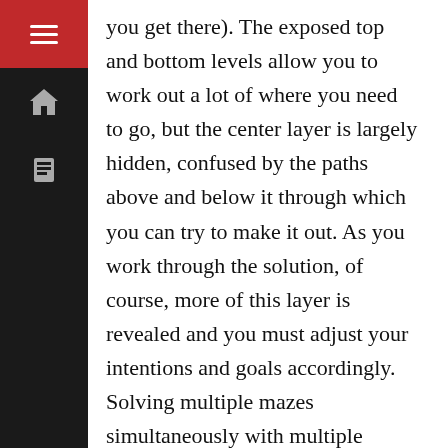you get there). The exposed top and bottom levels allow you to work out a lot of where you need to go, but the center layer is largely hidden, confused by the paths above and below it through which you can try to make it out. As you work through the solution, of course, more of this layer is revealed and you must adjust your intentions and goals accordingly. Solving multiple mazes simultaneously with multiple moving restrictions is much more than the sum of its parts: dead ends exist in most any maze but here you must sometimes take advantage of these, working pins somewhere just so you can allow another to move elsewhere before